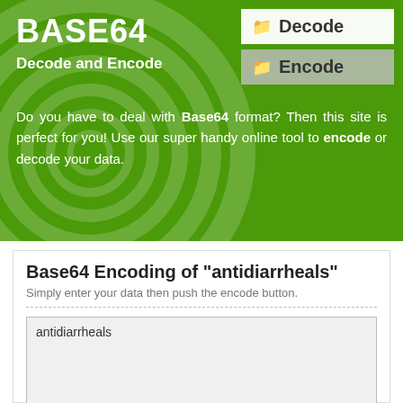BASE64
Decode and Encode
[Figure (screenshot): Decode navigation button (active/white background) with folder icon]
[Figure (screenshot): Encode navigation button (grey background) with folder icon]
Do you have to deal with Base64 format? Then this site is perfect for you! Use our super handy online tool to encode or decode your data.
Base64 Encoding of "antidiarrheals"
Simply enter your data then push the encode button.
antidiarrheals